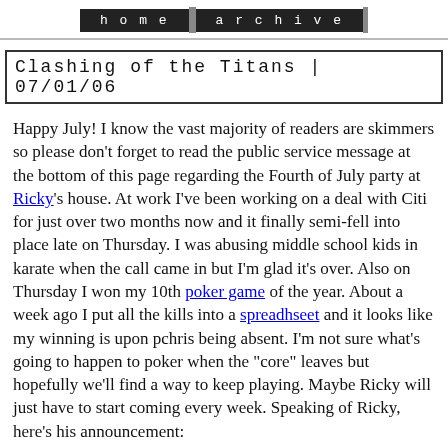home | archive
Clashing of the Titans | 07/01/06
Happy July! I know the vast majority of readers are skimmers so please don't forget to read the public service message at the bottom of this page regarding the Fourth of July party at Ricky's house. At work I've been working on a deal with Citi for just over two months now and it finally semi-fell into place late on Thursday. I was abusing middle school kids in karate when the call came in but I'm glad it's over. Also on Thursday I won my 10th poker game of the year. About a week ago I put all the kills into a spreadhseet and it looks like my winning is upon pchris being absent. I'm not sure what's going to happen to poker when the "core" leaves but hopefully we'll find a way to keep playing. Maybe Ricky will just have to start coming every week. Speaking of Ricky, here's his announcement:
WE HAVE CATS. They will probably not be roaming free .. but just the same, if you're allergic, you better take your strongest drug to suppress it .. I will have no sympathy for a sneezing guest .. and I'll probably mock you all night about